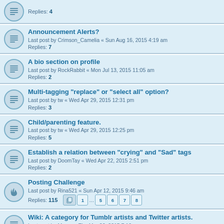Replies: 4
Announcement Alerts?
Last post by Crimson_Camelia « Sun Aug 16, 2015 4:19 am
Replies: 7
A bio section on profile
Last post by RockRabbit « Mon Jul 13, 2015 11:05 am
Replies: 2
Multi-tagging "replace" or "select all" option?
Last post by tw « Wed Apr 29, 2015 12:31 pm
Replies: 3
Child/parenting feature.
Last post by tw « Wed Apr 29, 2015 12:25 pm
Replies: 5
Establish a relation between "crying" and "Sad" tags
Last post by DoomTay « Wed Apr 22, 2015 2:51 pm
Replies: 2
Posting Challenge
Last post by Rina521 « Sun Apr 12, 2015 9:46 am
Replies: 115
Pages: 1 ... 5 6 7 8
Wiki: A category for Tumblr artists and Twitter artists.
Last post by Merun « Thu Mar 26, 2015 7:10 pm
Replies: 1
Images larger than 16MB
Last post by tw « Mon Feb 23, 2015 6:20 am
Replies: 6
Ratings Separation
Last post by Aizawa « Thu Nov 20, 2014 11:10 am